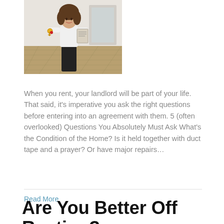[Figure (photo): Woman in white blouse holding keys and documents, standing in a bright room with wooden floor]
When you rent, your landlord will be part of your life. That said, it's imperative you ask the right questions before entering into an agreement with them. 5 (often overlooked) Questions You Absolutely Must Ask What's the Condition of the Home? Is it held together with duct tape and a prayer? Or have major repairs…
Read More
Are You Better Off Renting?